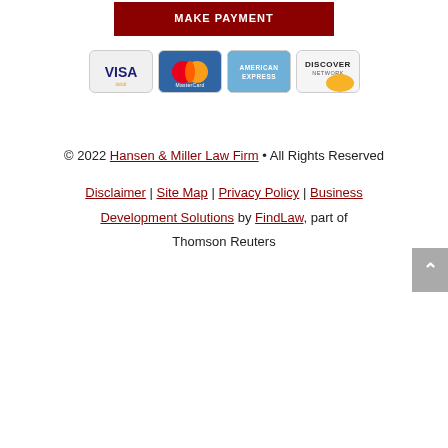[Figure (other): Dark red Make Payment button at top]
[Figure (other): Four credit card logos: Visa, MasterCard, American Express, Discover Network]
© 2022 Hansen & Miller Law Firm • All Rights Reserved
Disclaimer | Site Map | Privacy Policy | Business Development Solutions by FindLaw, part of Thomson Reuters